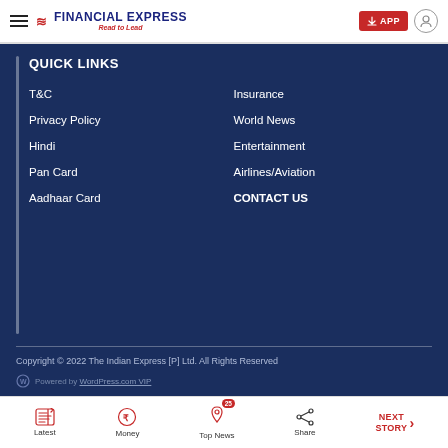FINANCIAL EXPRESS — Read to Lead
QUICK LINKS
T&C
Insurance
Privacy Policy
World News
Hindi
Entertainment
Pan Card
Airlines/Aviation
Aadhaar Card
CONTACT US
Copyright © 2022 The Indian Express [P] Ltd. All Rights Reserved
Powered by WordPress.com VIP
Latest | Money | Top News 25 | Share | NEXT STORY